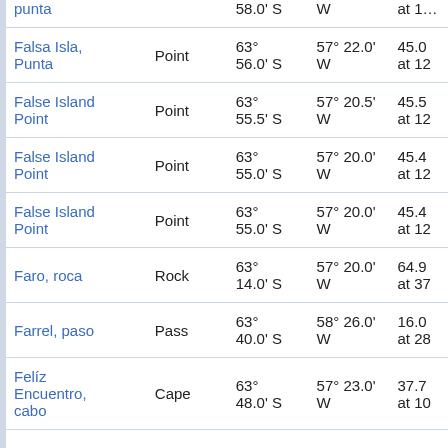| Name | Type | Latitude | Longitude | Extra |
| --- | --- | --- | --- | --- |
| punta |  | 58.0' S | W | at 1... |
| Falsa Isla, Punta | Point | 63° 56.0' S | 57° 22.0' W | 45.0 at 12 |
| False Island Point | Point | 63° 55.5' S | 57° 20.5' W | 45.5 at 12 |
| False Island Point | Point | 63° 55.0' S | 57° 20.0' W | 45.4 at 12 |
| False Island Point | Point | 63° 55.0' S | 57° 20.0' W | 45.4 at 12 |
| Faro, roca | Rock | 63° 14.0' S | 57° 20.0' W | 64.9 at 37 |
| Farrel, paso | Pass | 63° 40.0' S | 58° 26.0' W | 16.0 at 28 |
| Felíz Encuentro, cabo | Cape | 63° 48.0' S | 57° 23.0' W | 37.7 at 10 |